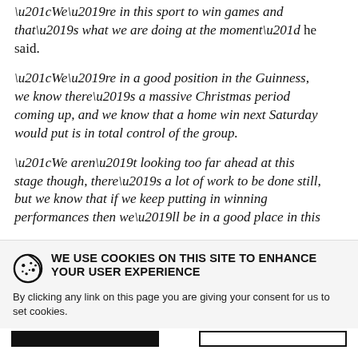“We’re in this sport to win games and that’s what we are doing at the moment” he said.
“We’re in a good position in the Guinness, we know there’s a massive Christmas period coming up, and we know that a home win next Saturday would put is in total control of the group.
“We aren’t looking too far ahead at this stage though, there’s a lot of work to be done still, but we know that if we keep putting in winning performances then we’ll be in a good place in this
WE USE COOKIES ON THIS SITE TO ENHANCE YOUR USER EXPERIENCE
By clicking any link on this page you are giving your consent for us to set cookies.